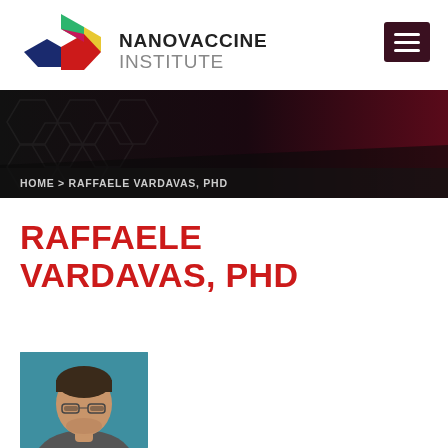[Figure (logo): Nanovaccine Institute logo with colorful hexagonal mark and text reading NANOVACCINE INSTITUTE]
[Figure (infographic): Dark banner with hexagonal pattern background, dark red gradient on right side]
HOME > RAFFAELE VARDAVAS, PHD
RAFFAELE VARDAVAS, PHD
[Figure (photo): Headshot of Raffaele Vardavas, a man with dark hair and glasses against a teal background]